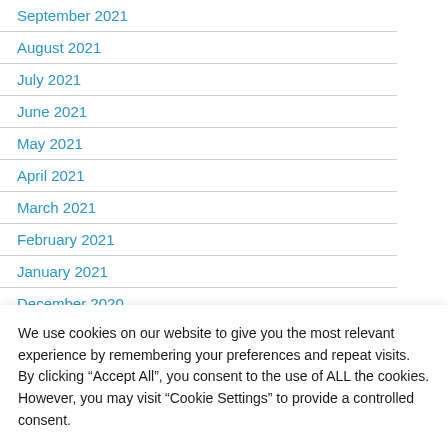September 2021
August 2021
July 2021
June 2021
May 2021
April 2021
March 2021
February 2021
January 2021
December 2020
November 2020
We use cookies on our website to give you the most relevant experience by remembering your preferences and repeat visits. By clicking “Accept All”, you consent to the use of ALL the cookies. However, you may visit “Cookie Settings” to provide a controlled consent.
Read More | Cookie Settings | Accept All